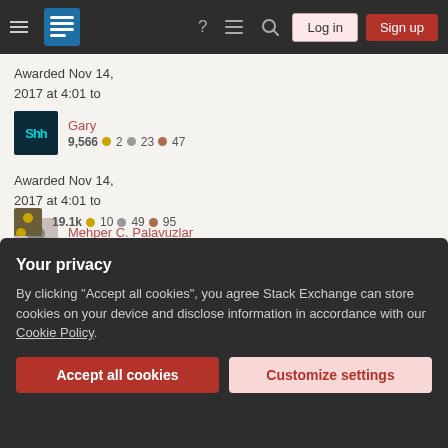Stack Exchange navigation bar with Log in and Sign up buttons
Awarded Nov 14, 2017 at 4:01 to
Gary 9,566 ●2 ●23 ●47
Awarded Nov 14, 2017 at 4:01 to
Mehper C. Palavuzlar 34.9k ●59 ●158 ●212
Awarded Nov 14, 2017 at 4:01 to
19.1k ●10 ●49 ●95
Your privacy
By clicking "Accept all cookies", you agree Stack Exchange can store cookies on your device and disclose information in accordance with our Cookie Policy.
Accept all cookies | Customize settings